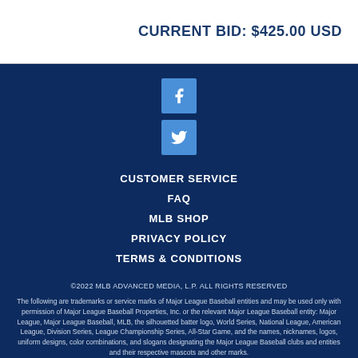CURRENT BID: $425.00 USD
[Figure (logo): Facebook icon - blue square with white letter f]
[Figure (logo): Twitter icon - blue square with white bird logo]
CUSTOMER SERVICE
FAQ
MLB SHOP
PRIVACY POLICY
TERMS & CONDITIONS
©2022 MLB ADVANCED MEDIA, L.P. ALL RIGHTS RESERVED
The following are trademarks or service marks of Major League Baseball entities and may be used only with permission of Major League Baseball Properties, Inc. or the relevant Major League Baseball entity: Major League, Major League Baseball, MLB, the silhouetted batter logo, World Series, National League, American League, Division Series, League Championship Series, All-Star Game, and the names, nicknames, logos, uniform designs, color combinations, and slogans designating the Major League Baseball clubs and entities and their respective mascots and other marks.